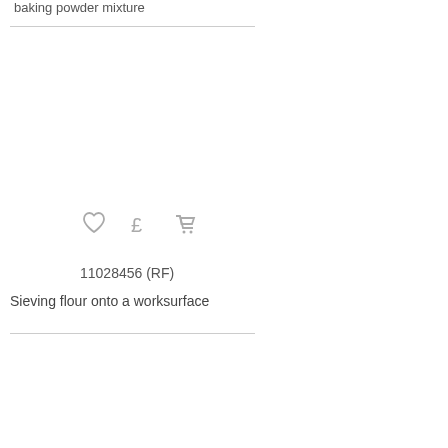baking powder mixture
[Figure (other): Row of icons: heart (favourite), pound sign (price/buy), shopping cart (add to cart)]
11028456 (RF)
Sieving flour onto a worksurface